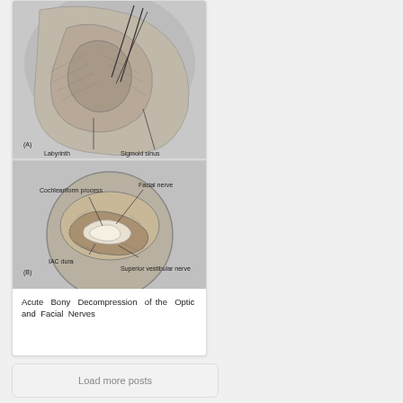[Figure (illustration): Medical anatomical illustration showing two panels (A and B) of ear/temporal bone surgery. Panel A shows a surgical view with labels 'Labyrinth' and 'Sigmoid sinus'. Panel B shows a circular magnified view with labels 'Cochleariform process', 'Facial nerve', 'IAC dura', and 'Superior vestibular nerve'.]
Acute Bony Decompression of the Optic and Facial Nerves
Load more posts